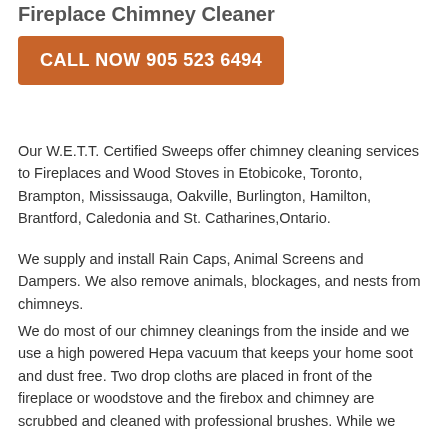Fireplace Chimney Cleaner
CALL NOW 905 523 6494
Our W.E.T.T. Certified Sweeps offer chimney cleaning services to Fireplaces and Wood Stoves in Etobicoke, Toronto, Brampton, Mississauga, Oakville, Burlington, Hamilton, Brantford, Caledonia and St. Catharines,Ontario.
We supply and install Rain Caps, Animal Screens and Dampers. We also remove animals, blockages, and nests from chimneys.
We do most of our chimney cleanings from the inside and we use a high powered Hepa vacuum that keeps your home soot and dust free. Two drop cloths are placed in front of the fireplace or woodstove and the firebox and chimney are scrubbed and cleaned with professional brushes. While we